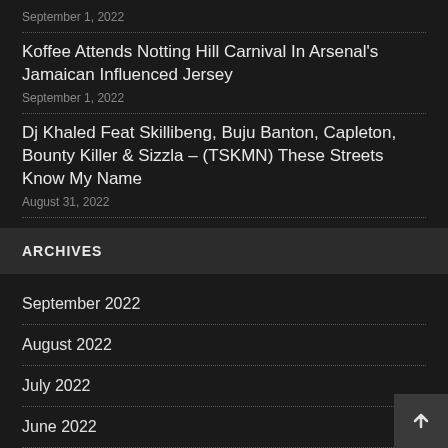September 1, 2022
Koffee Attends Notting Hill Carnival In Arsenal's Jamaican Influenced Jersey
September 1, 2022
Dj Khaled Feat Skillibeng, Buju Banton, Capleton, Bounty Killer & Sizzla – (TSKMN) These Streets Know My Name
August 31, 2022
ARCHIVES
September 2022
August 2022
July 2022
June 2022
May 2022
April 2022